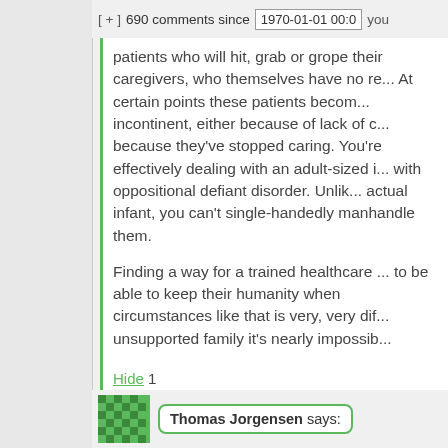[ + ]  690 comments since   1970-01-01 00:0
patients who will hit, grab or grope their caregivers, who themselves have no re... At certain points these patients become incontinent, either because of lack of c... because they've stopped caring. You're effectively dealing with an adult-sized i... with oppositional defiant disorder. Unlik... actual infant, you can't single-handedly manhandle them.
Finding a way for a trained healthcare ... to be able to keep their humanity when circumstances like that is very, very dif... unsupported family it's nearly impossib...
Hide 1
Thomas Jorgensen says: